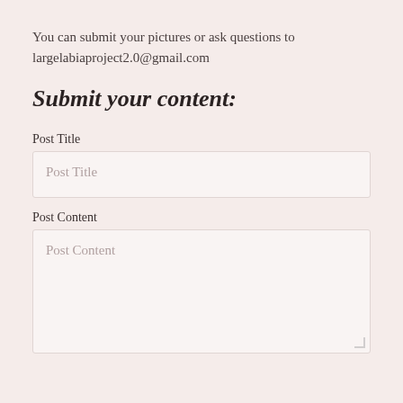You can submit your pictures or ask questions to largelabiaproject2.0@gmail.com
Submit your content:
Post Title
[Figure (screenshot): Post Title input field with placeholder text 'Post Title']
Post Content
[Figure (screenshot): Post Content textarea with placeholder text 'Post Content']